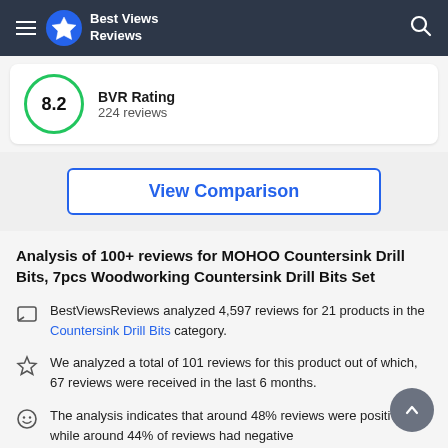Best Views Reviews
BVR Rating
224 reviews
8.2
View Comparison
Analysis of 100+ reviews for MOHOO Countersink Drill Bits, 7pcs Woodworking Countersink Drill Bits Set
BestViewsReviews analyzed 4,597 reviews for 21 products in the Countersink Drill Bits category.
We analyzed a total of 101 reviews for this product out of which, 67 reviews were received in the last 6 months.
The analysis indicates that around 48% reviews were positive while around 44% of reviews had negative